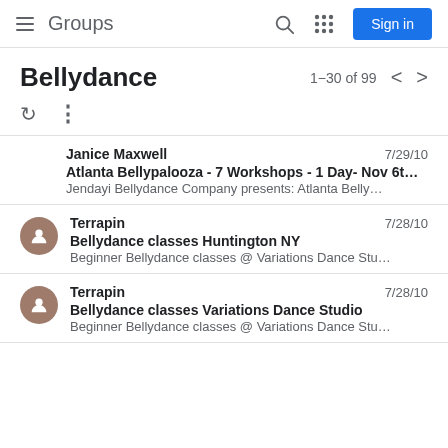Groups — Sign in
Bellydance
1–30 of 99
Janice Maxwell — 7/29/10 — Atlanta Bellypalooza - 7 Workshops - 1 Day- Nov 6t… — Jendayi Bellydance Company presents: Atlanta Belly…
Terrapin — 7/28/10 — Bellydance classes Huntington NY — Beginner Bellydance classes @ Variations Dance Stu…
Terrapin — 7/28/10 — Bellydance classes Variations Dance Studio — Beginner Bellydance classes @ Variations Dance Stu…